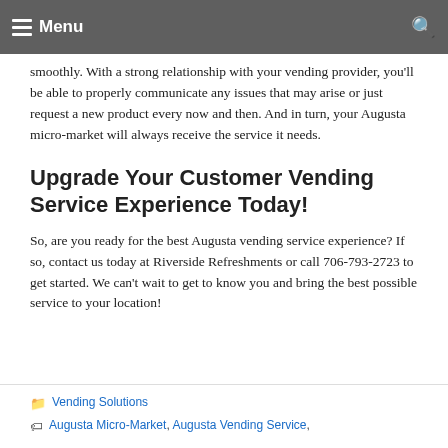Menu
smoothly. With a strong relationship with your vending provider, you'll be able to properly communicate any issues that may arise or just request a new product every now and then. And in turn, your Augusta micro-market will always receive the service it needs.
Upgrade Your Customer Vending Service Experience Today!
So, are you ready for the best Augusta vending service experience? If so, contact us today at Riverside Refreshments or call 706-793-2723 to get started. We can't wait to get to know you and bring the best possible service to your location!
Vending Solutions
Augusta Micro-Market, Augusta Vending Service,